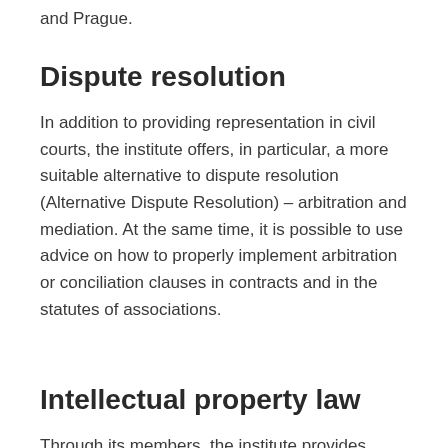and Prague.
Dispute resolution
In addition to providing representation in civil courts, the institute offers, in particular, a more suitable alternative to dispute resolution (Alternative Dispute Resolution) – arbitration and mediation. At the same time, it is possible to use advice on how to properly implement arbitration or conciliation clauses in contracts and in the statutes of associations.
Intellectual property law
Through its members, the institute provides advice in the field of copyright and industrial property rights, here through a patent attorney